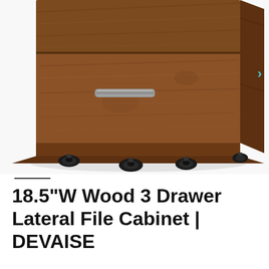[Figure (photo): Close-up product photo of a brown wood lateral file cabinet with a metal drawer handle and black caster wheels on a white background. The cabinet shows the lower portion with two visible drawer fronts and four black rubber caster wheels.]
18.5"W Wood 3 Drawer Lateral File Cabinet | DEVAISE